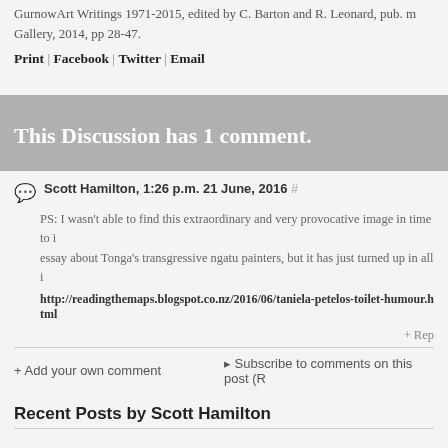GurnowArt Writings 1971-2015, edited by C. Barton and R. Leonard, pub. m Gallery, 2014, pp 28-47.
Print | Facebook | Twitter | Email
This Discussion has 1 comment.
Scott Hamilton, 1:26 p.m. 21 June, 2016 #
PS: I wasn't able to find this extraordinary and very provocative image in time to include it in my essay about Tonga's transgressive ngatu painters, but it has just turned up in all its glory at http://readingthemaps.blogspot.co.nz/2016/06/taniela-petelos-toilet-humour.html
+ Reply
+ Add your own comment
Subscribe to comments on this post (R
Recent Posts by Scott Hamilton